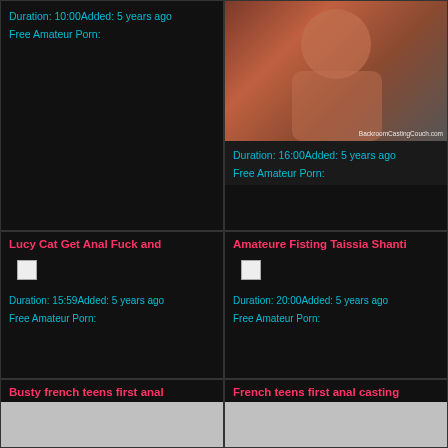Duration: 10:00Added: 5 years ago
Free Amateur Porn:
[Figure (photo): Photo of a woman with red hair and chain necklace with BackroomCastingCouch.com watermark]
Duration: 16:00Added: 5 years ago
Free Amateur Porn:
Lucy Cat Get Anal Fuck and
Duration: 15:59Added: 5 years ago
Free Amateur Porn:
Amateure Fisting Taissia Shanti
Duration: 20:00Added: 5 years ago
Free Amateur Porn:
Busty french teens first anal
French teens first anal casting